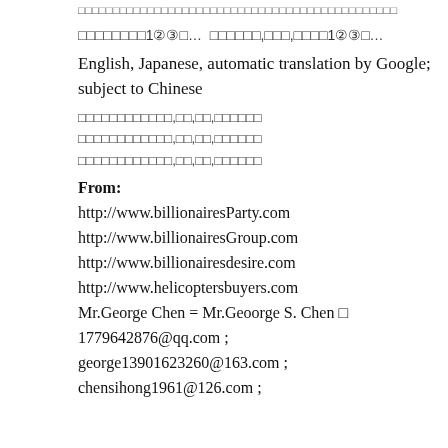□□□□□□□□□□□□□□□□□□□□□□□□□□□□□□□□□□□□□□□□□□□□□□
□□□□□□□□1②③□… □□□□□□,□□□,□□□□1②③□…
English, Japanese, automatic translation by Google; subject to Chinese
□□□□□□□□□□□□,□□,□□,□□□□□□
□□□□□□□□□□□□,□□,□□,□□□□□□
□□□□□□□□□□□□,□□,□□,□□□□□□
From:
http://www.billionairesParty.com
http://www.billionairesGroup.com
http://www.billionairesdesire.com
http://www.helicoptersbuyers.com
Mr.George Chen = Mr.Geoorge S. Chen □
1779642876@qq.com ;
george13901623260@163.com ;
chensihong1961@126.com ;